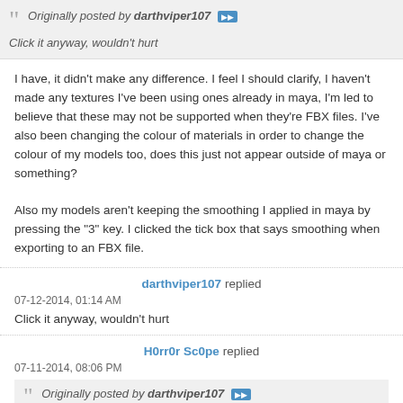Originally posted by darthviper107 — Click it anyway, wouldn't hurt
I have, it didn't make any difference. I feel I should clarify, I haven't made any textures I've been using ones already in maya, I'm led to believe that these may not be supported when they're FBX files. I've also been changing the colour of materials in order to change the colour of my models too, does this just not appear outside of maya or something?

Also my models aren't keeping the smoothing I applied in maya by pressing the "3" key. I clicked the tick box that says smoothing when exporting to an FBX file.
darthviper107 replied
07-12-2014, 01:14 AM
Click it anyway, wouldn't hurt
H0rr0r Sc0pe replied
07-11-2014, 08:06 PM
Originally posted by darthviper107 — You also have to check the Import Textures button. Just